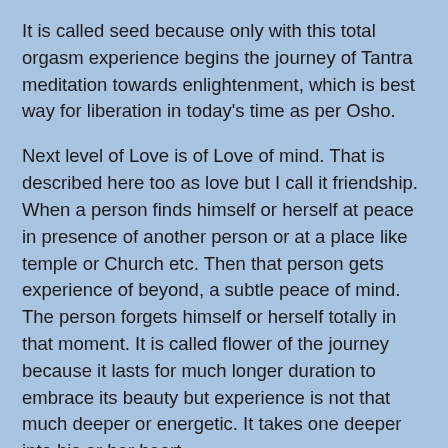It is called seed because only with this total orgasm experience begins the journey of Tantra meditation towards enlightenment, which is best way for liberation in today's time as per Osho.
Next level of Love is of Love of mind. That is described here too as love but I call it friendship. When a person finds himself or herself at peace in presence of another person or at a place like temple or Church etc. Then that person gets experience of beyond, a subtle peace of mind. The person forgets himself or herself totally in that moment. It is called flower of the journey because it lasts for much longer duration to embrace its beauty but experience is not that much deeper or energetic. It takes one deeper into his or her heart. Here if attachment or possessiveness overpowers then it may become a prison. This is why Osho